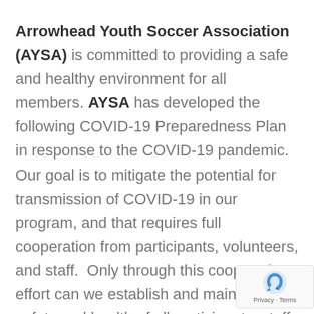Arrowhead Youth Soccer Association (AYSA) is committed to providing a safe and healthy environment for all members. AYSA has developed the following COVID-19 Preparedness Plan in response to the COVID-19 pandemic.  Our goal is to mitigate the potential for transmission of COVID-19 in our program, and that requires full cooperation from participants, volunteers, and staff.  Only through this cooperative effort can we establish and maintain the safety and health of all participants, staff, and facilities.
All participants are responsible for implementing and complying with all aspects of the Preparedness Plan.